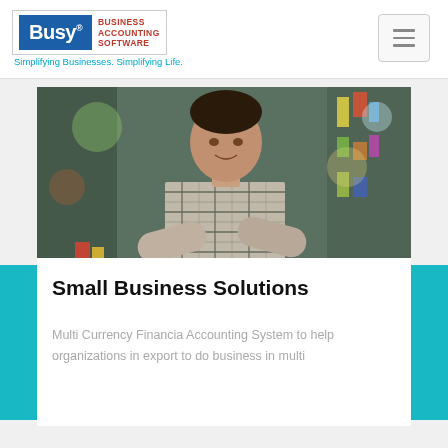Busy Business Accounting Software — Simplifying Businesses. Simplifying Life.
[Figure (photo): A man in a plaid shirt standing with arms crossed inside a colourful retail shop, smiling at the camera.]
Small Business Solutions
Multi Currency Financia Accounting System to help organizations in export to do business in multi